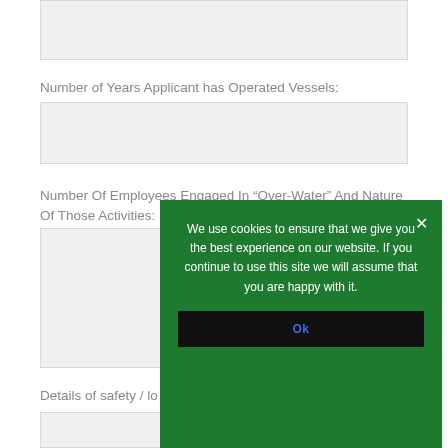Number of Years Applicant has Operated Vessels:
Number Of Employees Engaged In “Over-Water” And Nature Of Those Activities:
Details of safety / lo
We use cookies to ensure that we give you the best experience on our website. If you continue to use this site we will assume that you are happy with it.
Ok